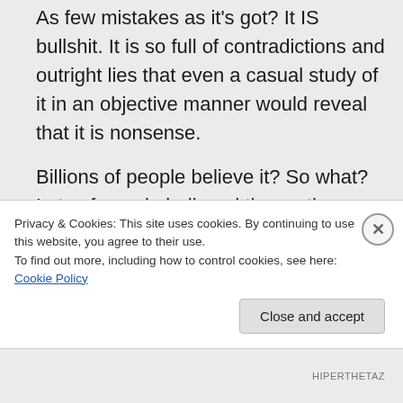As few mistakes as it's got? It IS bullshit. It is so full of contradictions and outright lies that even a casual study of it in an objective manner would reveal that it is nonsense.
Billions of people believe it? So what? Lots of people believed the earth was flat. Did that make it true? The truth is the truth even if no one believes it. A lie is a lie even if everyone believes it.
Privacy & Cookies: This site uses cookies. By continuing to use this website, you agree to their use. To find out more, including how to control cookies, see here: Cookie Policy